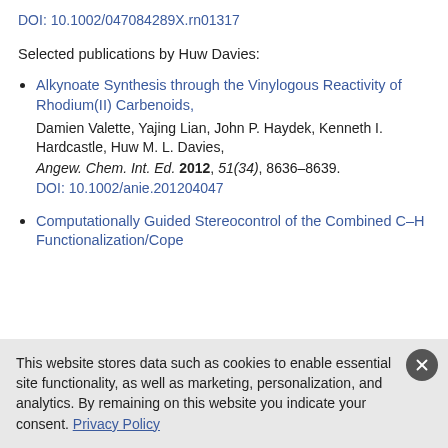DOI: 10.1002/047084289X.rn01317
Selected publications by Huw Davies:
Alkynoate Synthesis through the Vinylogous Reactivity of Rhodium(II) Carbenoids, Damien Valette, Yajing Lian, John P. Haydek, Kenneth I. Hardcastle, Huw M. L. Davies, Angew. Chem. Int. Ed. 2012, 51(34), 8636–8639. DOI: 10.1002/anie.201204047
Computationally Guided Stereocontrol of the Combined C–H Functionalization/Cope
This website stores data such as cookies to enable essential site functionality, as well as marketing, personalization, and analytics. By remaining on this website you indicate your consent. Privacy Policy